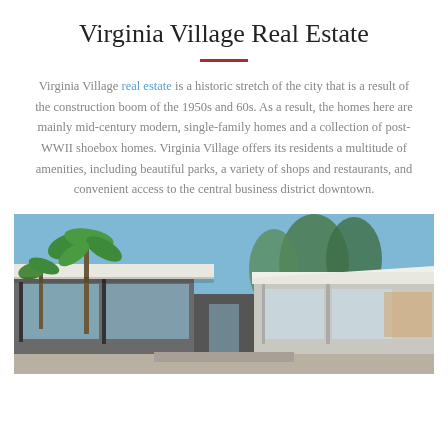Virginia Village Real Estate
Virginia Village real estate is a historic stretch of the city that is a result of the construction boom of the 1950s and 60s. As a result, the homes here are mainly mid-century modern, single-family homes and a collection of post-WWII shoebox homes. Virginia Village offers its residents a multitude of amenities, including beautiful parks, a variety of shops and restaurants, and convenient access to the central business district downtown.
[Figure (photo): Exterior photo of a mid-century modern single-family home with large glass windows, flat roof, palm trees, and blue sky in the background.]